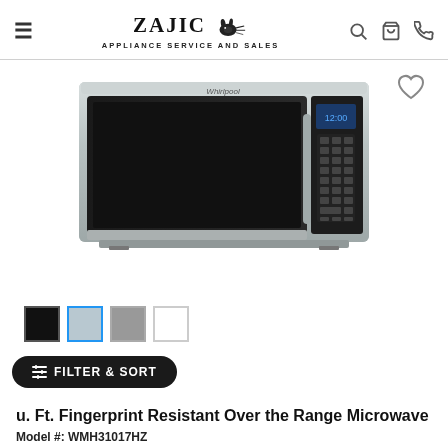ZAJIC APPLIANCE SERVICE AND SALES
[Figure (photo): Whirlpool over-the-range microwave in stainless steel finish, front view showing black door with Whirlpool branding and digital control panel on right side]
u. Ft. Fingerprint Resistant Over the Range Microwave
Model #: WMH31017HZ